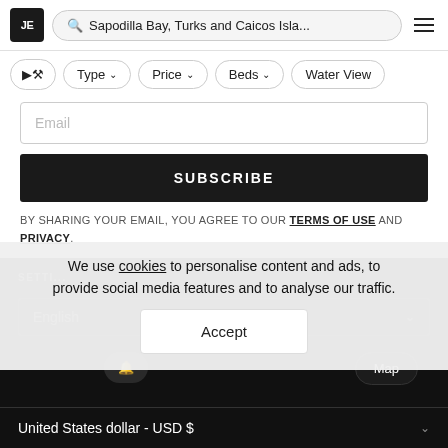JE | Sapodilla Bay, Turks and Caicos Isla...
Type ▾  Price ▾  Beds ▾  Water View
Email
SUBSCRIBE
BY SHARING YOUR EMAIL, YOU AGREE TO OUR TERMS OF USE AND PRIVACY.
We use cookies to personalise content and ads, to provide social media features and to analyse our traffic.
Accept
SETTINGS
English
Map
United States dollar - USD $